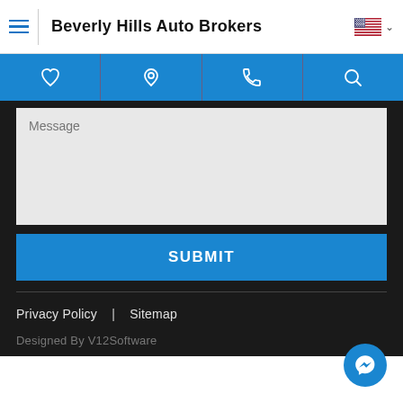Beverly Hills Auto Brokers
[Figure (screenshot): Navigation icon bar with heart, location pin, phone, and search icons on blue background]
Message
SUBMIT
Privacy Policy | Sitemap
Designed By V12Software